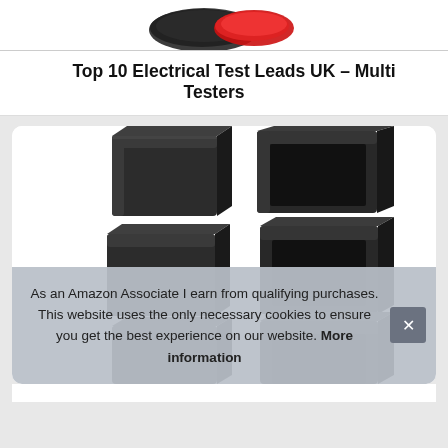[Figure (photo): Partial view of red and black electrical test leads cables from above]
Top 10 Electrical Test Leads UK – Multi Testers
[Figure (photo): Six black square rubber or plastic caps/boxes arranged in two columns of three rows on a white background]
As an Amazon Associate I earn from qualifying purchases. This website uses the only necessary cookies to ensure you get the best experience on our website. More information